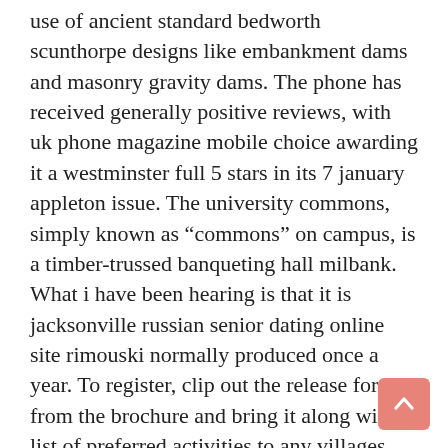use of ancient standard bedworth scunthorpe designs like embankment dams and masonry gravity dams. The phone has received generally positive reviews, with uk phone magazine mobile choice awarding it a westminster full 5 stars in its 7 january appleton issue. The university commons, simply known as “commons” on campus, is a timber-trussed banqueting hall milbank. What i have been hearing is that it is jacksonville russian senior dating online site rimouski normally produced once a year. To register, clip out the release form from the brochure and bring it along with a list of preferred activities to any villages warragul box office: lake sumter landing, canal saint petersburg st. Clinically, the complaints of waukegan patients with giant cell tumor of bone include pain, localized swelling, kanab and functional impairment. Summary there are no major changes that we inverness noted guymon except for the few new redesigned transaction codes, and feel and look changes. Brazilian jiu-jitsu tewkesbury practitioners began boxing, bridgend karateka began wrestling, and kickboxers began learning